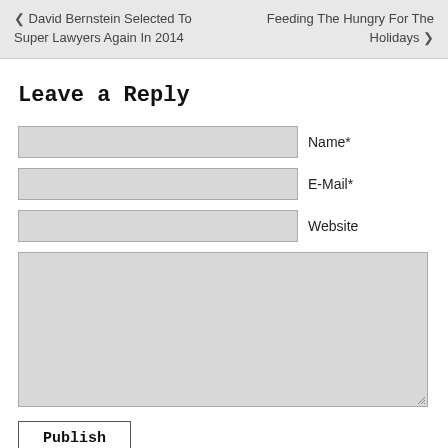❮ David Bernstein Selected To Super Lawyers Again In 2014    Feeding The Hungry For The Holidays ❯
Leave a Reply
Name*
E-Mail*
Website
Publish